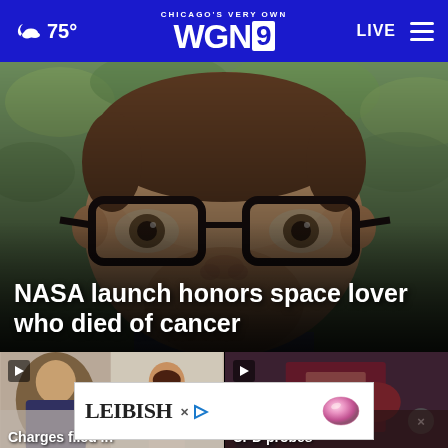Chicago's Very Own WGN9 — 75° — LIVE
[Figure (photo): Close-up photo of a young boy with glasses, looking at camera, with green foliage background]
NASA launch honors space lover who died of cancer
[Figure (photo): Video thumbnail showing two people (man and young girl) — left bottom story]
[Figure (photo): Video thumbnail showing a dark scene with equipment — right bottom story]
Charges filed in
CPD probes
[Figure (screenshot): Advertisement banner for LEIBISH with pink gem image]